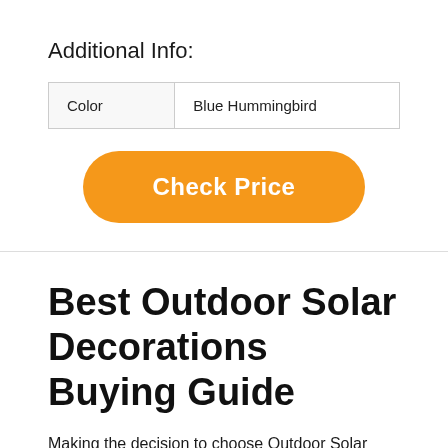Additional Info:
| Color | Blue Hummingbird |
Check Price
Best Outdoor Solar Decorations Buying Guide
Making the decision to choose Outdoor Solar Decorations is not an easy decision